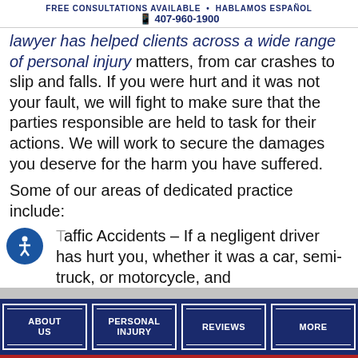FREE CONSULTATIONS AVAILABLE · HABLAMOS ESPAÑOL
407-960-1900
lawyer has helped clients across a wide range of personal injury matters, from car crashes to slip and falls. If you were hurt and it was not your fault, we will fight to make sure that the parties responsible are held to task for their actions. We will work to secure the damages you deserve for the harm you have suffered.
Some of our areas of dedicated practice include:
Traffic Accidents – If a negligent driver has hurt you, whether it was a car, semi-truck, or motorcycle, and
ABOUT US | PERSONAL INJURY | REVIEWS | MORE
CHAT WITH US   TEXT US